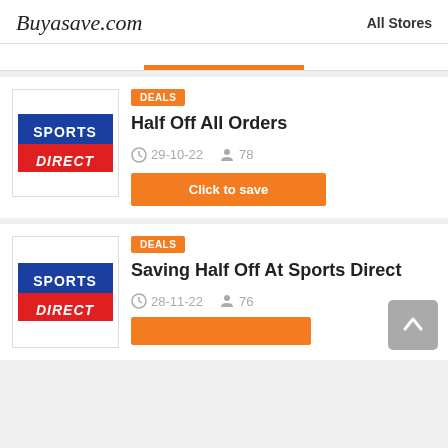Buyasave.com   All Stores
DEALS
Half Off All Orders
29-10-22   78
Click to save
DEALS
Saving Half Off At Sports Direct
28-11-22   76